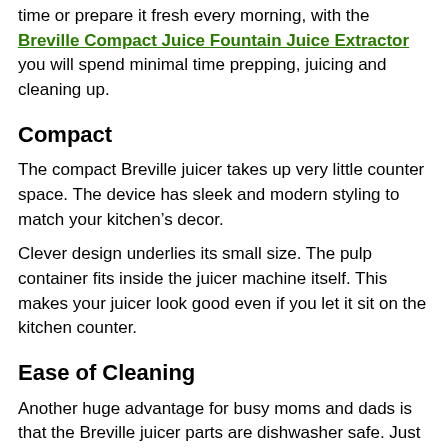time or prepare it fresh every morning, with the Breville Compact Juice Fountain Juice Extractor you will spend minimal time prepping, juicing and cleaning up.
Compact
The compact Breville juicer takes up very little counter space. The device has sleek and modern styling to match your kitchen’s decor.
Clever design underlies its small size. The pulp container fits inside the juicer machine itself. This makes your juicer look good even if you let it sit on the kitchen counter.
Ease of Cleaning
Another huge advantage for busy moms and dads is that the Breville juicer parts are dishwasher safe. Just juice, disassemble and pop it into the dishwasher. You are done.